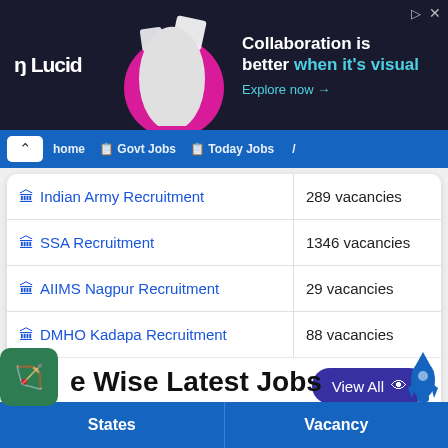[Figure (screenshot): Lucid advertisement banner — dark background with logo, person illustration, and text 'Collaboration is better when it's visual. Explore now →']
[Figure (screenshot): Navigation bar with blue background showing Home, Govt Jobs, Today Jobs links and a chevron/caret button]
| Recruitment | Vacancies |
| --- | --- |
| Indian Army Recruitment | 289 vacancies |
| SSA Recruitment | 1346 vacancies |
| AIIMS Nagpur Recruitment | 29 vacancies |
| DMHO Kadapa Recruitment | 88 vacancies |
State Wise Latest Jobs
| States | Vacancy |
| --- | --- |